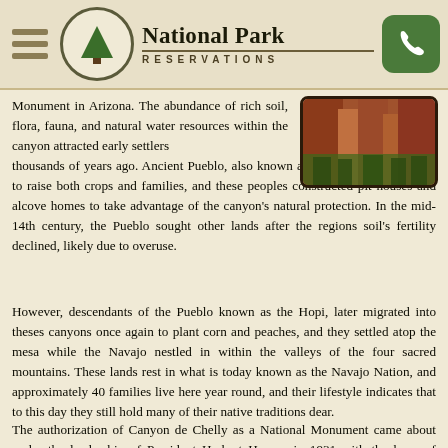National Park RESERVATIONS
[Figure (photo): Red rock canyon walls of Canyon de Chelly]
Monument in Arizona. The abundance of rich soil, flora, fauna, and natural water resources within the canyon attracted early settlers thousands of years ago. Ancient Pueblo, also known as the Anasazi, came here to raise both crops and families, and these peoples constructed pit houses and alcove homes to take advantage of the canyon's natural protection. In the mid-14th century, the Pueblo sought other lands after the regions soil's fertility declined, likely due to overuse.
However, descendants of the Pueblo known as the Hopi, later migrated into theses canyons once again to plant corn and peaches, and they settled atop the mesa while the Navajo nestled in within the valleys of the four sacred mountains. These lands rest in what is today known as the Navajo Nation, and approximately 40 families live here year round, and their lifestyle indicates that to this day they still hold many of their native traditions dear.
The authorization of Canyon de Chelly as a National Monument came about under the leadership of President Herbert Hoover in 1931 with the hope of preserving nearly 4000 years of archeological resources that the park holds. Today, the Navajo manage and operate these lands in cooperation with the United States NPS, and visitors can view the hogans, farms, and livestock of the Navajo while traversing the Canyon Rim scenic drives.